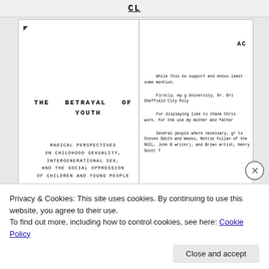THE BETRAYAL OF YOUTH
RADICAL PERSPECTIVES ON CHILDHOOD SEXUALITY, INTERGENERATIONAL SEX, AND THE SOCIAL OPPRESSION OF CHILDREN AND YOUNG PEOPLE
EDITED BY WARREN MIDDLETON
AC
While this bo support and encou least some mention.
Firstly, my g University, Dr. Bri Sheffield City Poly
For displaying like to thank Chris work. For the use my mother and father
Several people where necessary, gr to Steven Smith and Weeks, Nettie Follan of the NCCL, John B writer), and Brian artist, Henry Scott
Privacy & Cookies: This site uses cookies. By continuing to use this website, you agree to their use.
To find out more, including how to control cookies, see here: Cookie Policy
Close and accept